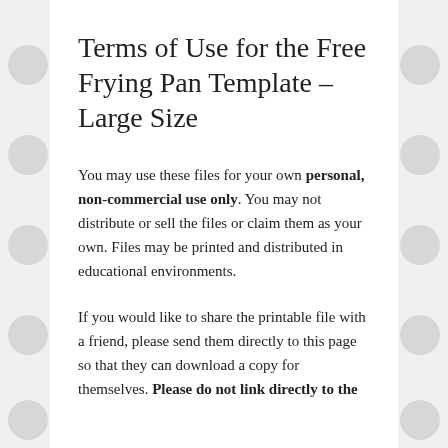Terms of Use for the Free Frying Pan Template – Large Size
You may use these files for your own personal, non-commercial use only. You may not distribute or sell the files or claim them as your own. Files may be printed and distributed in educational environments.
If you would like to share the printable file with a friend, please send them directly to this page so that they can download a copy for themselves. Please do not link directly to the downloadable files.